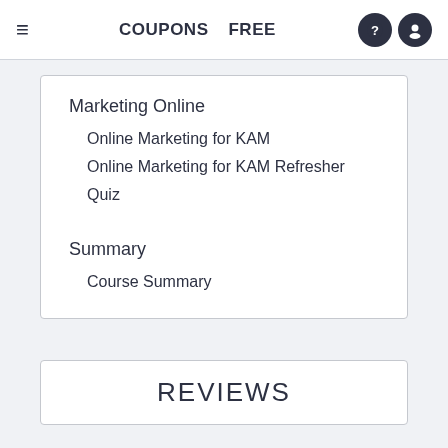≡   COUPONS   FREE
Marketing Online
Online Marketing for KAM
Online Marketing for KAM Refresher
Quiz
Summary
Course Summary
REVIEWS